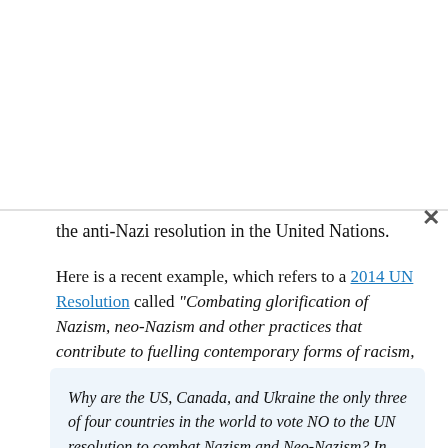the anti-Nazi resolution in the United Nations.
Here is a recent example, which refers to a 2014 UN Resolution called “Combating glorification of Nazism, neo-Nazism and other practices that contribute to fuelling contemporary forms of racism, racial discrimination, xenophobia and related intolerance”.
Why are the US, Canada, and Ukraine the only three of four countries in the world to vote NO to the UN resolution to combat Nazism and Neo-Nazism? In fact most European countries abstained, while the vast majority of the global south including China, India, Russia voted yes